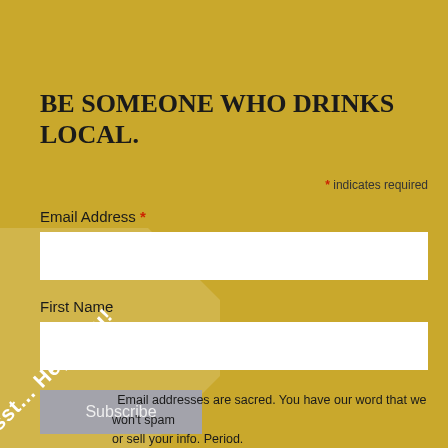BE SOMEONE WHO DRINKS LOCAL.
* indicates required
Email Address *
First Name
Subscribe
Email addresses are sacred. You have our word that we won't spam or sell your info. Period.
Psst... Hey, you!